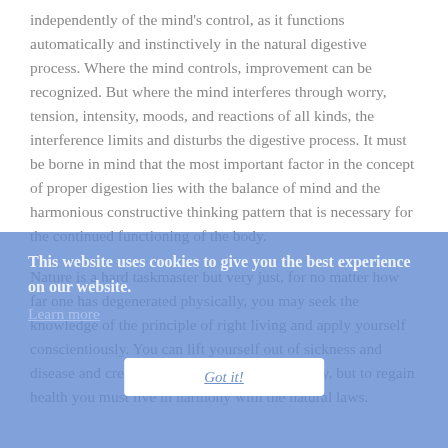independently of the mind's control, as it functions automatically and instinctively in the natural digestive process. Where the mind controls, improvement can be recognized. But where the mind interferes through worry, tension, intensity, moods, and reactions of all kinds, the interference limits and disturbs the digestive process. It must be borne in mind that the most important factor in the concept of proper digestion lies with the balance of mind and the harmonious constructive thinking pattern that is necessary for the continued functioning of the body.
Nature is a hard taskmaster but very just, for no matter how far one has degenerated physically, you may seek the knowledge of the principle of right living and apply yourself conscientiously. You can lift yourself out of sickness and disease and create a happy life and healthy body, but to regain health you must live in harmony with the natural laws.
This website uses cookies to give you the best experience on our website. Learn more
Got it!